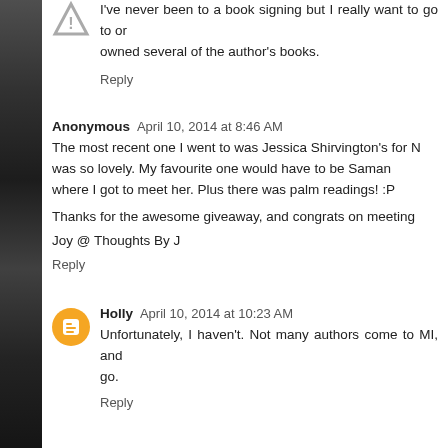I've never been to a book signing but I really want to go to one. I've owned several of the author's books.
Reply
Anonymous  April 10, 2014 at 8:46 AM
The most recent one I went to was Jessica Shirvington's for M... was so lovely. My favourite one would have to be Samanth... where I got to meet her. Plus there was palm readings! :P
Thanks for the awesome giveaway, and congrats on meeting...
Joy @ Thoughts By J
Reply
Holly  April 10, 2014 at 10:23 AM
Unfortunately, I haven't. Not many authors come to MI, and... go.
Reply